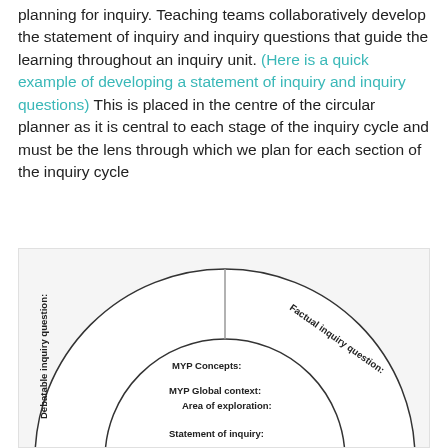planning for inquiry. Teaching teams collaboratively develop the statement of inquiry and inquiry questions that guide the learning throughout an inquiry unit. (Here is a quick example of developing a statement of inquiry and inquiry questions) This is placed in the centre of the circular planner as it is central to each stage of the inquiry cycle and must be the lens through which we plan for each section of the inquiry cycle
[Figure (schematic): Circular inquiry planner diagram with concentric rings. The inner circle contains: MYP Concepts:, MYP Global context:, Area of exploration:, Statement of inquiry:. The outer ring is divided into sections including 'Factual inquiry question:' (top right) and 'Debatable inquiry question:' (left). A vertical line divides the top of the outer circle.]